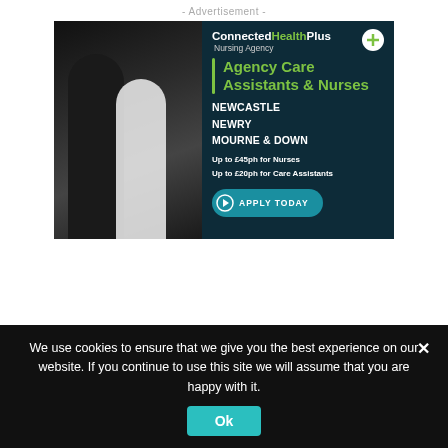- Advertisement -
[Figure (photo): ConnectedHealthPlus Nursing Agency advertisement. Two nurses standing against dark background. Right panel on dark teal background shows: ConnectedHealthPlus Nursing Agency logo with green plus circle, Agency Care Assistants & Nurses heading in green, locations NEWCASTLE NEWRY MOURNE & DOWN, pay rates Up to £45ph for Nurses and Up to £20ph for Care Assistants, and an APPLY TODAY button.]
We use cookies to ensure that we give you the best experience on our website. If you continue to use this site we will assume that you are happy with it.
Ok